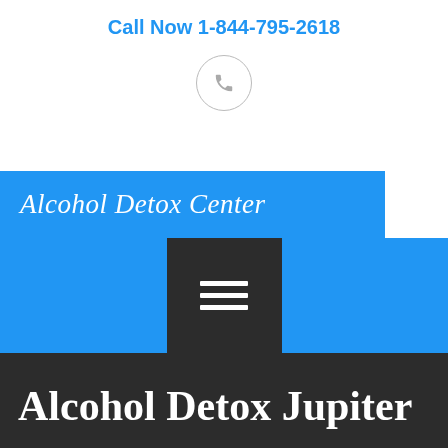Call Now 1-844-795-2618
[Figure (illustration): Phone handset icon inside a circle]
Alcohol Detox Center
[Figure (illustration): Hamburger menu icon (three horizontal lines) inside a dark square on a blue navigation bar]
Alcohol Detox Jupiter
Tap To Call Now!
You Are Here:
[Figure (illustration): Green circular phone call button]
Terms